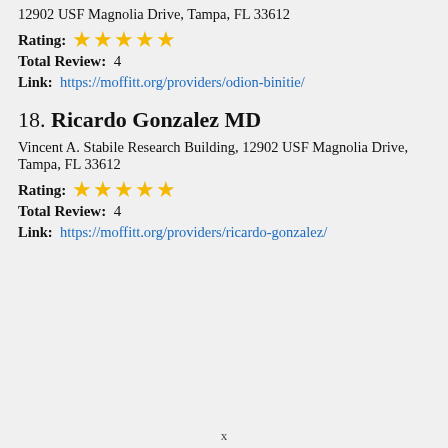12902 USF Magnolia Drive, Tampa, FL 33612
Rating: ★★★★★
Total Review: 4
Link: https://moffitt.org/providers/odion-binitie/
18. Ricardo Gonzalez MD
Vincent A. Stabile Research Building, 12902 USF Magnolia Drive, Tampa, FL 33612
Rating: ★★★★★
Total Review: 4
Link: https://moffitt.org/providers/ricardo-gonzalez/